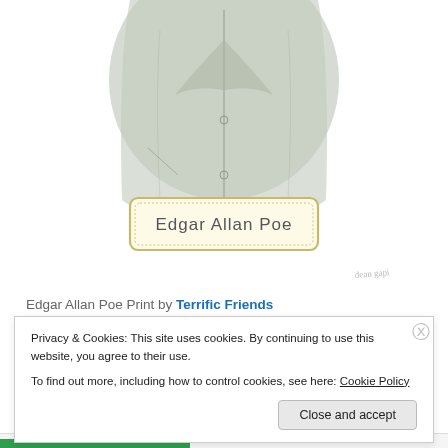[Figure (illustration): Partial illustration of Edgar Allan Poe figure (torso/coat in muted gray-green) with a handwritten name tag label reading 'Edgar Allan Poe' on a cream/yellow background with decorative border, and a small handwritten artist signature 'dean gapi' in lower right.]
Edgar Allan Poe Print by Terrific Friends
Privacy & Cookies: This site uses cookies. By continuing to use this website, you agree to their use.
To find out more, including how to control cookies, see here: Cookie Policy
Close and accept